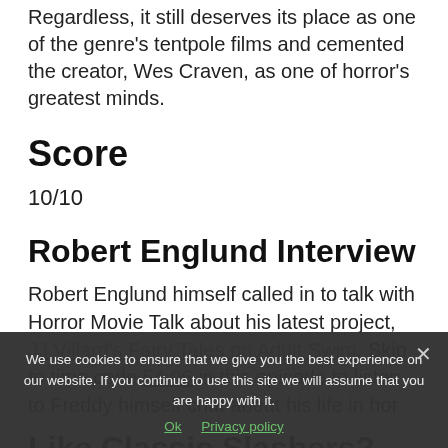Regardless, it still deserves its place as one of the genre's tentpole films and cemented the creator, Wes Craven, as one of horror's greatest minds.
Score
10/10
Robert Englund Interview
Robert Englund himself called in to talk with Horror Movie Talk about his latest project, JJ Villard's Fairy Tales on Adult Swim. Skip to time code 54:06 in this episode to listen to Freddy himself chat about his life in hor…
Like Classic Slashers?
We use cookies to ensure that we give you the best experience on our website. If you continue to use this site we will assume that you are happy with it.
Ok  Privacy policy